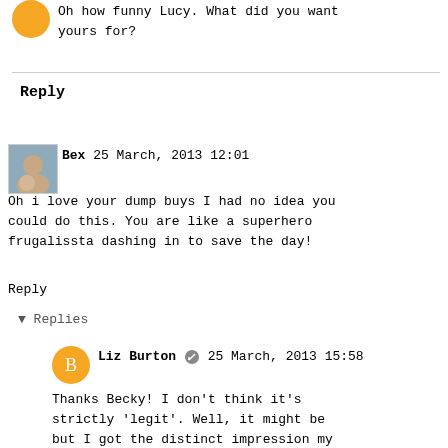Oh how funny Lucy. What did you want yours for?
Reply
Bex 25 March, 2013 12:01
Oh i love your dump buys I had no idea you could do this. You are like a superhero frugalissta dashing in to save the day!
Reply
▾ Replies
Liz Burton 25 March, 2013 15:58
Thanks Becky! I don't think it's strictly 'legit'. Well, it might be but I got the distinct impression my cash was going straight in his back pocket.